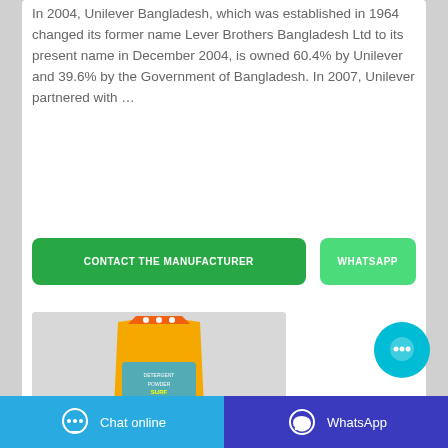In 2004, Unilever Bangladesh, which was established in 1964 changed its former name Lever Brothers Bangladesh Ltd to its present name in December 2004, is owned 60.4% by Unilever and 39.6% by the Government of Bangladesh. In 2007, Unilever partnered with …
[Figure (other): Two green buttons: 'CONTACT THE MANUFACTURER' and 'WHATSAPP']
[Figure (photo): Product image showing a yellow/orange bag of detergent powder]
[Figure (other): Cyan circular chat bubble button with ellipsis icon]
Chat online   WhatsApp